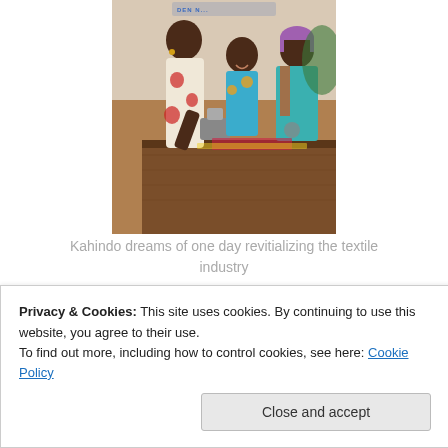[Figure (photo): Women gathered around a sewing machine at a table, appearing to be in a workshop or training setting. A banner with blue text is partially visible in the background.]
Kahindo dreams of one day revitializing the textile industry
Privacy & Cookies: This site uses cookies. By continuing to use this website, you agree to their use.
To find out more, including how to control cookies, see here: Cookie Policy